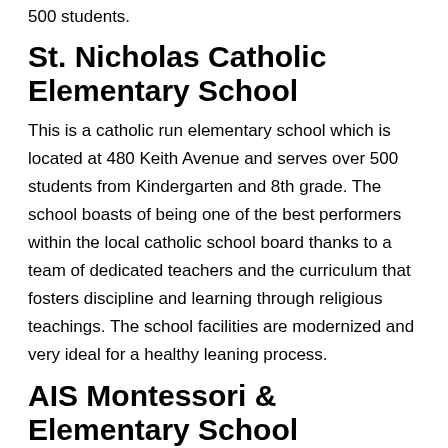500 students.
St. Nicholas Catholic Elementary School
This is a catholic run elementary school which is located at 480 Keith Avenue and serves over 500 students from Kindergarten and 8th grade. The school boasts of being one of the best performers within the local catholic school board thanks to a team of dedicated teachers and the curriculum that fosters discipline and learning through religious teachings. The school facilities are modernized and very ideal for a healthy leaning process.
AIS Montessori & Elementary School
If you prefer approaching learning from a different